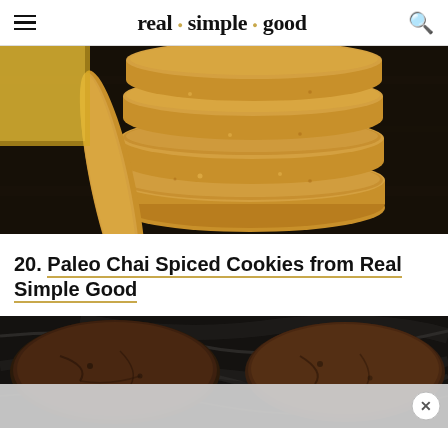real · simple · good
[Figure (photo): Stack of round golden-brown chai spiced cookies on a dark surface, with one cookie leaning against the stack]
20. Paleo Chai Spiced Cookies from Real Simple Good
[Figure (photo): Close-up of dark chocolate cookies from above on a dark marble surface, partially obscured by a grey advertisement overlay with an X close button]